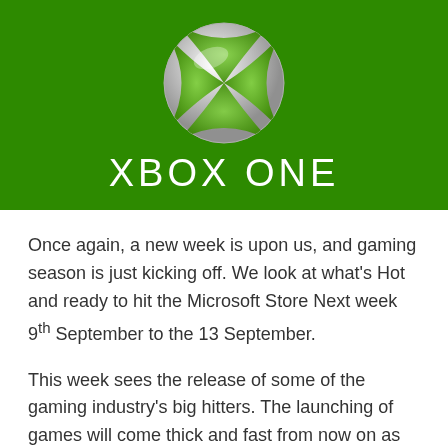[Figure (logo): Xbox One logo: green sphere with X symbol above white text 'XBOX ONE' on green background]
Once again, a new week is upon us, and gaming season is just kicking off. We look at what's Hot and ready to hit the Microsoft Store Next week 9th September to the 13 September.
This week sees the release of some of the gaming industry's big hitters. The launching of games will come thick and fast from now on as the excitement continues to build for the run up